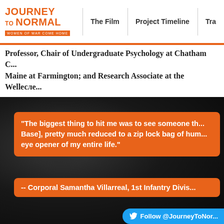Journey to Normal — Women of War Come Home | The Film | Project Timeline | Tra...
Professor, Chair of Undergraduate Psychology at Chatham C..., Maine at Farmington; and Research Associate at the Wellесле...
[Figure (screenshot): Dark background scene with silhouetted figure]
"The biggest thing to hit me was to see someone th... Base], pretty much reduced to a zip lock bag of hum... eye opener of my entire life."
-- Corporal Samantha Villarreal, 1st Infantry Divis...